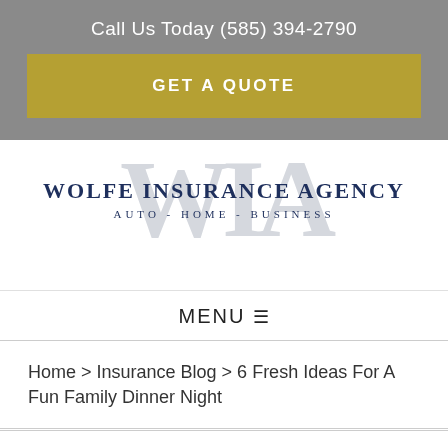Call Us Today (585) 394-2790
GET A QUOTE
[Figure (logo): Wolfe Insurance Agency logo with watermark WIA letters and text WOLFE INSURANCE AGENCY AUTO - HOME - BUSINESS]
MENU
Home > Insurance Blog > 6 Fresh Ideas For A Fun Family Dinner Night